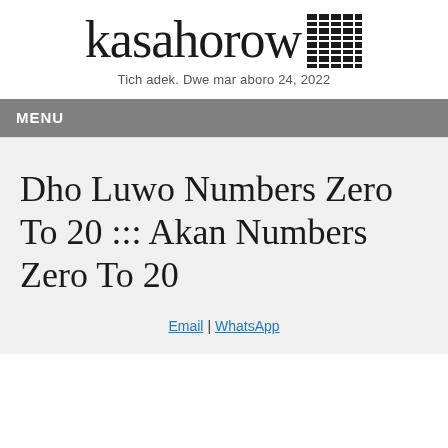kasahorow
Tich adek. Dwe mar aboro 24, 2022
MENU
Dho Luwo Numbers Zero To 20 ::: Akan Numbers Zero To 20
Email | WhatsApp